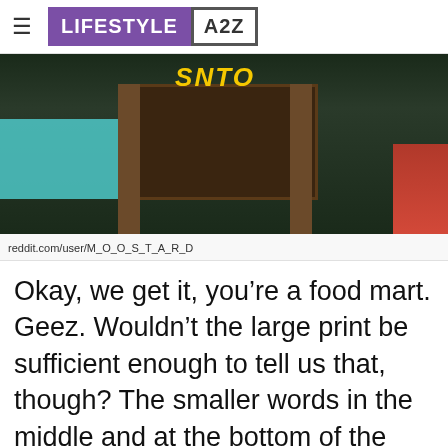LIFESTYLE A2Z
[Figure (photo): Photo of a food mart sign on a wooden board structure with teal colored panels on the left and dark foliage in the background, with a red element on the right side.]
reddit.com/user/M_O_O_S_T_A_R_D
Okay, we get it, you're a food mart. Geez. Wouldn't the large print be sufficient enough to tell us that, though? The smaller words in the middle and at the bottom of the sign aren't helpful. If anything, they're just confusing. Did Anna really think this sign was a good